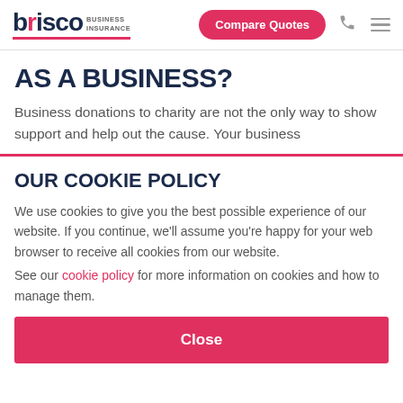brisco BUSINESS INSURANCE | Compare Quotes
AS A BUSINESS?
Business donations to charity are not the only way to show support and help out the cause. Your business
OUR COOKIE POLICY
We use cookies to give you the best possible experience of our website. If you continue, we'll assume you're happy for your web browser to receive all cookies from our website.
See our cookie policy for more information on cookies and how to manage them.
Close